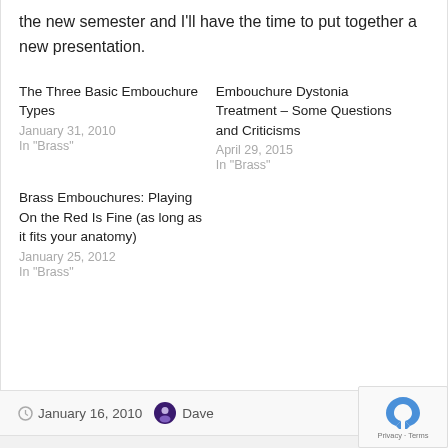the new semester and I'll have the time to put together a new presentation.
The Three Basic Embouchure Types
January 31, 2010
In "Brass"
Embouchure Dystonia Treatment – Some Questions and Criticisms
April 29, 2015
In "Brass"
Brass Embouchures: Playing On the Red Is Fine (as long as it fits your anatomy)
January 25, 2012
In "Brass"
January 16, 2010  Dave